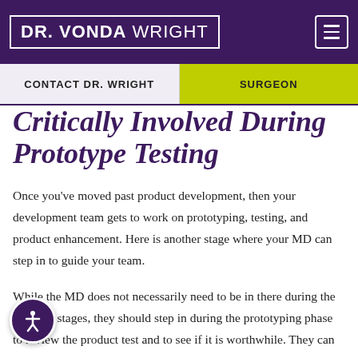DR. VONDA WRIGHT
CONTACT DR. WRIGHT
SURGEON
Critically Involved During Prototype Testing
Once you’ve moved past product development, then your development team gets to work on prototyping, testing, and product enhancement. Here is another stage where your MD can step in to guide your team.
While the MD does not necessarily need to be in there during the research stages, they should step in during the prototyping phase to review the product test and to see if it is worthwhile. They can also play with the product, manipulate it, and stress test it in their own ways so that you learn more about the product’s potential.